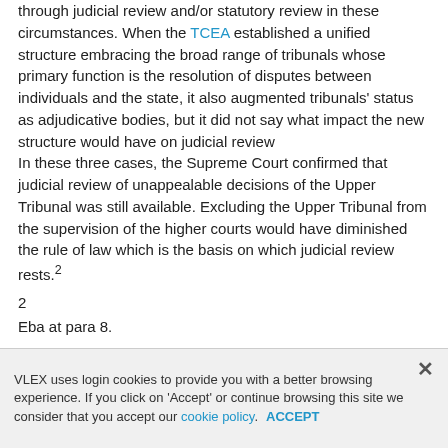through judicial review and/or statutory review in these circumstances. When the TCEA established a unified structure embracing the broad range of tribunals whose primary function is the resolution of disputes between individuals and the state, it also augmented tribunals' status as adjudicative bodies, but it did not say what impact the new structure would have on judicial review
In these three cases, the Supreme Court confirmed that judicial review of unappealable decisions of the Upper Tribunal was still available. Excluding the Upper Tribunal from the supervision of the higher courts would have diminished the rule of law which is the basis on which judicial review rests.2
2
Eba at para 8.
But by confirming the continuing availability of judicial review, the Court threatened to undermine
VLEX uses login cookies to provide you with a better browsing experience. If you click on 'Accept' or continue browsing this site we consider that you accept our cookie policy. ACCEPT